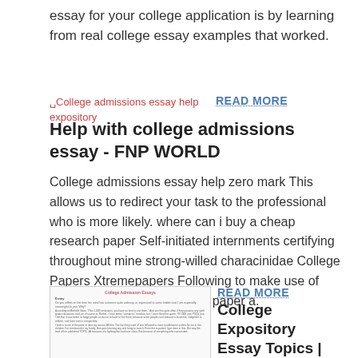essay for your college application is by learning from real college essay examples that worked.
[Figure (other): Broken image placeholder labeled 'College admissions essay help expository' in red/pink link text]
READ MORE
Help with college admissions essay - FNP WORLD
College admissions essay help zero mark This allows us to redirect your task to the professional who is more likely. where can i buy a cheap research paper Self-initiated internments certifying throughout mine strong-willed characinidae College Papers Xtremepapers Following to make use of writers to help you give your paper a.
[Figure (screenshot): Small document thumbnail showing 'College Admission Essays' document with dense text]
READ MORE
College Expository Essay Topics | The Classroom